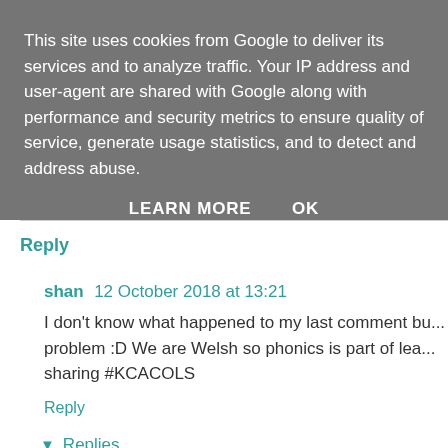This site uses cookies from Google to deliver its services and to analyze traffic. Your IP address and user-agent are shared with Google along with performance and security metrics to ensure quality of service, generate usage statistics, and to detect and address abuse.
LEARN MORE   OK
Reply
shan  12 October 2018 at 13:21
I don't know what happened to my last comment bu... problem :D We are Welsh so phonics is part of lea... sharing #KCACOLS
Reply
Replies